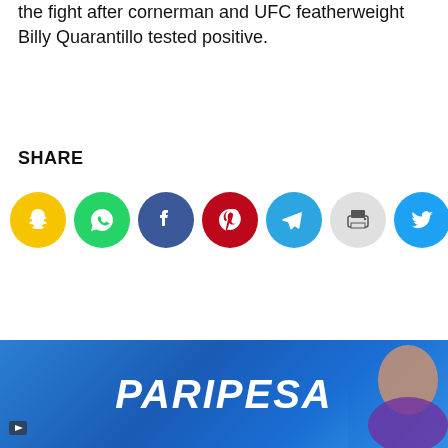the fight after cornerman and UFC featherweight Billy Quarantillo tested positive.
SHARE
[Figure (infographic): Row of 7 social media share buttons as colored circles: Snapchat (yellow), WhatsApp (green), Facebook (dark blue), Pinterest (red), Telegram (light blue), Print (light gray), Twitter (cyan/blue)]
[Figure (infographic): PARIPESA advertisement banner with blue gradient background, white italic bold text reading PARIPESA, a female figure on the right side, and a small play button icon at bottom left]